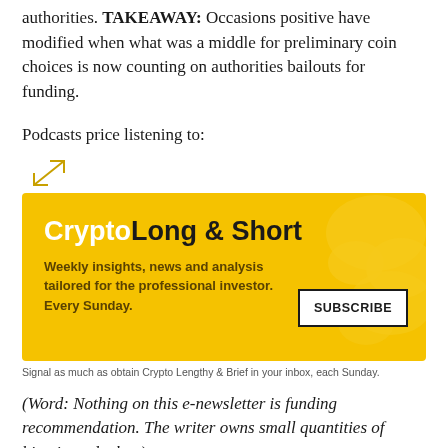authorities. TAKEAWAY: Occasions positive have modified when what was a middle for preliminary coin choices is now counting on authorities bailouts for funding.
Podcasts price listening to:
[Figure (other): Expand/resize arrow icon (diagonal arrows indicating resize)]
[Figure (infographic): CryptoLong & Short advertisement banner with yellow background. Title: CryptoLong & Short. Subtitle: Weekly insights, news and analysis tailored for the professional investor. Every Sunday. Subscribe button on right side.]
Signal as much as obtain Crypto Lengthy & Brief in your inbox, each Sunday.
(Word: Nothing on this e-newsletter is funding recommendation. The writer owns small quantities of bitcoin and ether.)